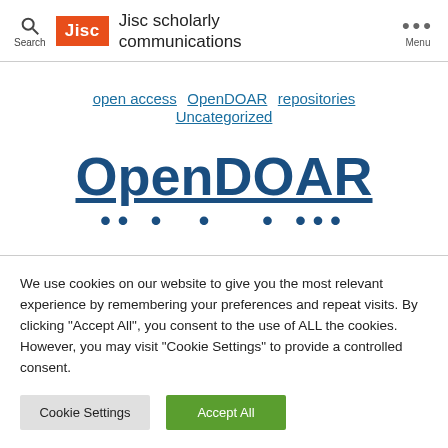Jisc scholarly communications
open access  OpenDOAR  repositories  Uncategorized
OpenDOAR
We use cookies on our website to give you the most relevant experience by remembering your preferences and repeat visits. By clicking "Accept All", you consent to the use of ALL the cookies. However, you may visit "Cookie Settings" to provide a controlled consent.
Cookie Settings  Accept All